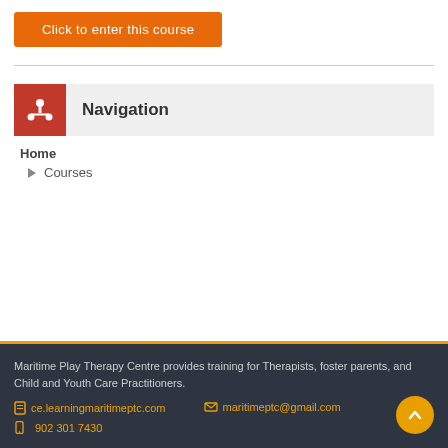Click to enter this course
Navigation
Home
Courses
Maritime Play Therapy Centre provides training for Therapists, foster parents, and Child and Youth Care Practitioners. ce.learningmaritimeptc.com  maritimeptc@gmail.com  902 301 7430